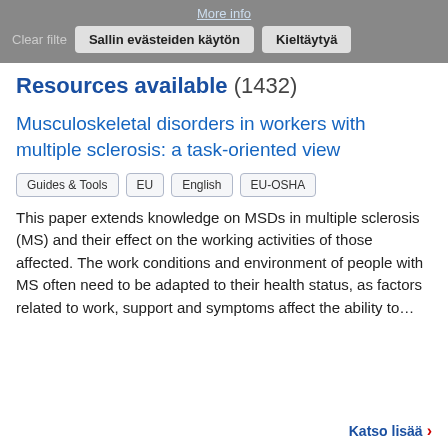More info
Clear filters  Sallin evästeiden käytön  Kieltäytyä
Resources available (1432)
Musculoskeletal disorders in workers with multiple sclerosis: a task-oriented view
Guides & Tools
EU
English
EU-OSHA
This paper extends knowledge on MSDs in multiple sclerosis (MS) and their effect on the working activities of those affected. The work conditions and environment of people with MS often need to be adapted to their health status, as factors related to work, support and symptoms affect the ability to...
Katso lisää →